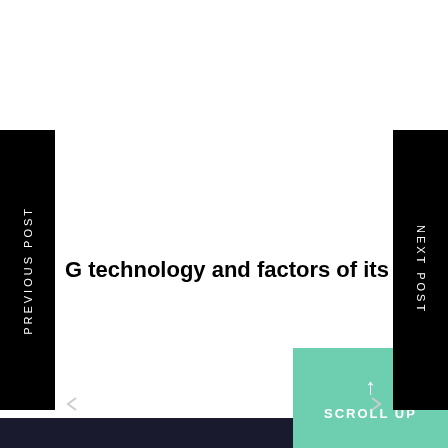PREVIOUS POST
NEXT POST
G technology and factors of its developme
SCROLL UP